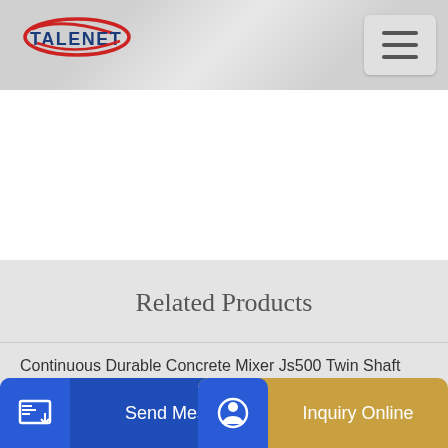[Figure (logo): Talenet logo with red oval and blue text]
[Figure (other): Hamburger menu button with three horizontal lines]
Related Products
Continuous Durable Concrete Mixer Js500 Twin Shaft
Bruder Man TGA Cement Mixer Truck Blue for 2-6Years
Send Message
for sa
Inquiry Online